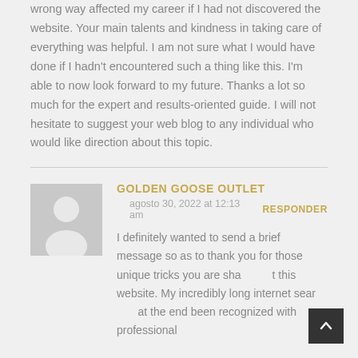wrong way affected my career if I had not discovered the website. Your main talents and kindness in taking care of everything was helpful. I am not sure what I would have done if I hadn't encountered such a thing like this. I'm able to now look forward to my future. Thanks a lot so much for the expert and results-oriented guide. I will not hesitate to suggest your web blog to any individual who would like direction about this topic.
GOLDEN GOOSE OUTLET
agosto 30, 2022 at 12:13 am
RESPONDER
I definitely wanted to send a brief message so as to thank you for those unique tricks you are sharing at this website. My incredibly long internet search has at the end been recognized with professional